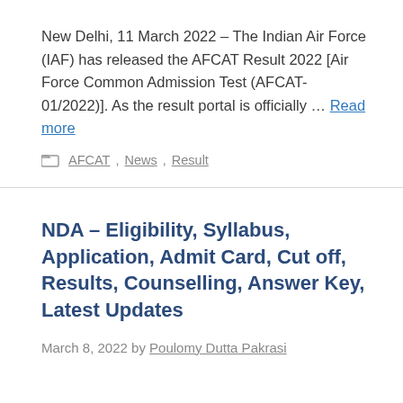New Delhi, 11 March 2022 – The Indian Air Force (IAF) has released the AFCAT Result 2022 [Air Force Common Admission Test (AFCAT- 01/2022)]. As the result portal is officially … Read more
AFCAT, News, Result
NDA – Eligibility, Syllabus, Application, Admit Card, Cut off, Results, Counselling, Answer Key, Latest Updates
March 8, 2022 by Poulomy Dutta Pakrasi